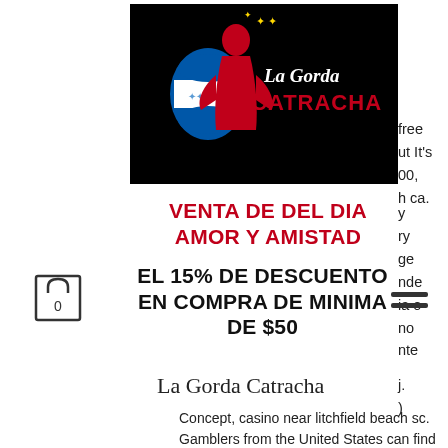[Figure (logo): La Gorda Catracha logo — black background with red silhouette of a woman and text 'La Gorda CATRACHA' in italic/bold style with Honduras flag shield]
free
ut It's
00,
h ca.
VENTA DE DEL DIA
AMOR Y AMISTAD
y
ry
ge
nde
ia o
no
nte
EL 15% DE DESCUENTO EN COMPRA DE MINIMA DE $50
La Gorda Catracha
j.
)
Concept, casino near litchfield beach sc. Gamblers from the United States can find websites in a few categories: No minimum deposit casino USA Some sites